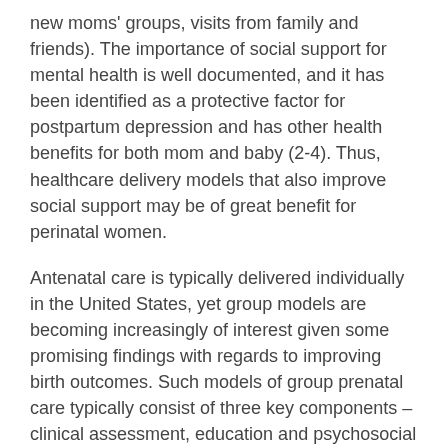new moms' groups, visits from family and friends). The importance of social support for mental health is well documented, and it has been identified as a protective factor for postpartum depression and has other health benefits for both mom and baby (2-4). Thus, healthcare delivery models that also improve social support may be of great benefit for perinatal women.
Antenatal care is typically delivered individually in the United States, yet group models are becoming increasingly of interest given some promising findings with regards to improving birth outcomes. Such models of group prenatal care typically consist of three key components – clinical assessment, education and psychosocial support. Group perinatal care can thus provide social support while also making antenatal healthcare and education delivery more efficient and available. While comparison of group care with standard